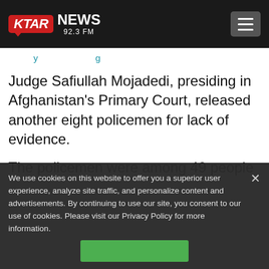[Figure (logo): KTAR News 92.3 FM logo with hamburger menu button on black header]
…y … g …
Judge Safiullah Mojadedi, presiding in Afghanistan's Primary Court, released another eight policemen for lack of evidence.
The policemen were among 49 people
We use cookies on this website to offer you a superior user experience, analyze site traffic, and personalize content and advertisements. By continuing to use our site, you consent to our use of cookies. Please visit our Privacy Policy for more information.